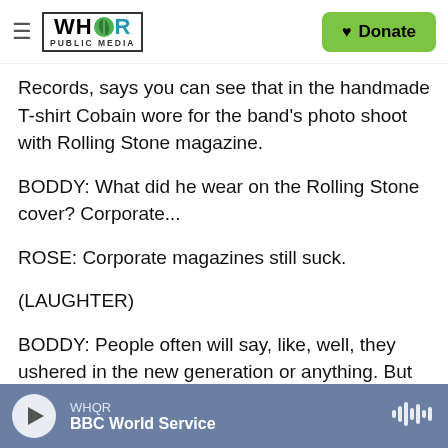WHQR PUBLIC MEDIA | Donate
Records, says you can see that in the handmade T-shirt Cobain wore for the band's photo shoot with Rolling Stone magazine.
BODDY: What did he wear on the Rolling Stone cover? Corporate...
ROSE: Corporate magazines still suck.
(LAUGHTER)
BODDY: People often will say, like, well, they ushered in the new generation or anything. But what are you supposed to say? (Laughter) A
WHQR | BBC World Service